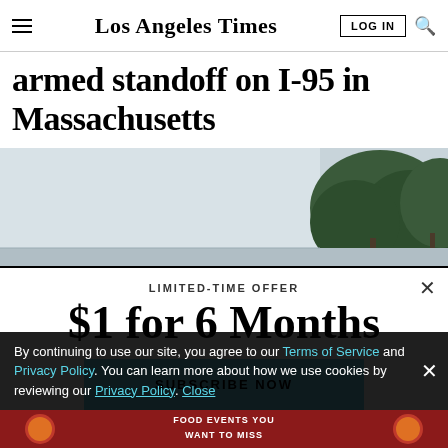Los Angeles Times
armed standoff on I-95 in Massachusetts
[Figure (photo): Outdoor scene showing overcast sky with trees visible on the right side]
LIMITED-TIME OFFER
$1 for 6 Months
SUBSCRIBE NOW
By continuing to use our site, you agree to our Terms of Service and Privacy Policy. You can learn more about how we use cookies by reviewing our Privacy Policy. Close
[Figure (infographic): Red food events advertisement banner at the bottom: FOOD EVENTS YOU WANT TO MISS with burger illustration]